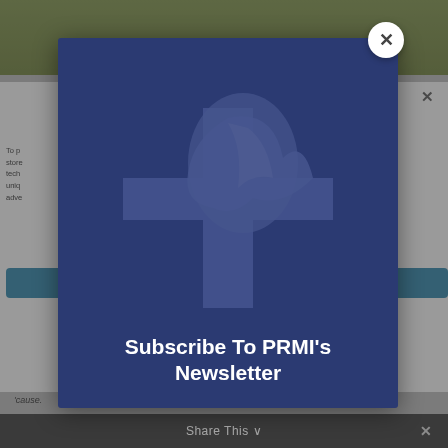[Figure (screenshot): Background webpage content with photo of plants at top, gray overlay, partial article text, teal button, and dark share bar at bottom]
[Figure (logo): PRMI cross and dove logo watermark displayed in the center of the modal dialog, semi-transparent on dark blue background]
Subscribe To PRMI's Newsletter